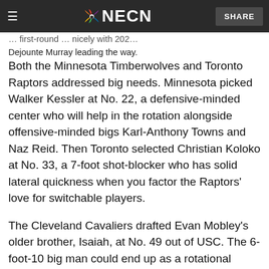NECN
first-round … nicely with 202… Dejounte Murray leading the way.
Both the Minnesota Timberwolves and Toronto Raptors addressed big needs. Minnesota picked Walker Kessler at No. 22, a defensive-minded center who will help in the rotation alongside offensive-minded bigs Karl-Anthony Towns and Naz Reid. Then Toronto selected Christian Koloko at No. 33, a 7-foot shot-blocker who has solid lateral quickness when you factor the Raptors' love for switchable players.
The Cleveland Cavaliers drafted Evan Mobley's older brother, Isaiah, at No. 49 out of USC. The 6-foot-10 big man could end up as a rotational backup for a rising young team that just barely missed out on the playoffs last season.